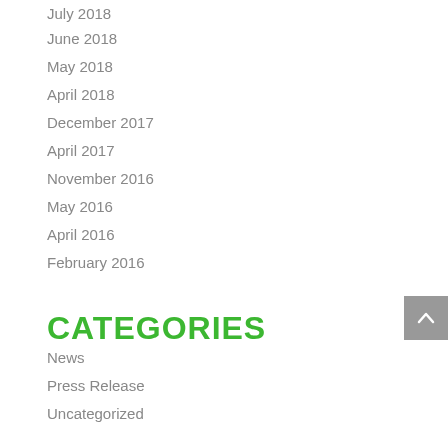July 2018
June 2018
May 2018
April 2018
December 2017
April 2017
November 2016
May 2016
April 2016
February 2016
CATEGORIES
News
Press Release
Uncategorized